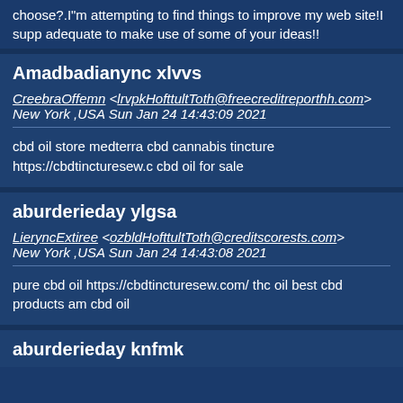choose?.I"m attempting to find things to improve my web site!I supp adequate to make use of some of your ideas!!
Amadbadianync xlvvs
CreebraOffemn <lrvpkHofttultToth@freecreditreporthh.com> New York ,USA Sun Jan 24 14:43:09 2021
cbd oil store medterra cbd cannabis tincture https://cbdtincturesew.c cbd oil for sale
aburderieday ylgsa
LieryncExtiree <ozbldHofttultToth@creditscorests.com> New York ,USA Sun Jan 24 14:43:08 2021
pure cbd oil https://cbdtincturesew.com/ thc oil best cbd products am cbd oil
aburderieday knfmk